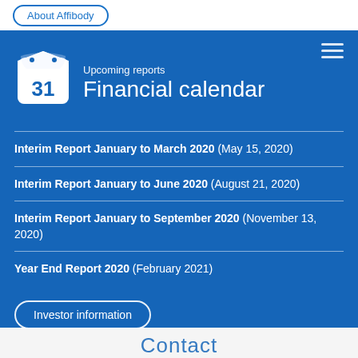About Affibody
Upcoming reports
Financial calendar
Interim Report January to March 2020 (May 15, 2020)
Interim Report January to June 2020 (August 21, 2020)
Interim Report January to September 2020 (November 13, 2020)
Year End Report 2020 (February 2021)
Investor information
Contact